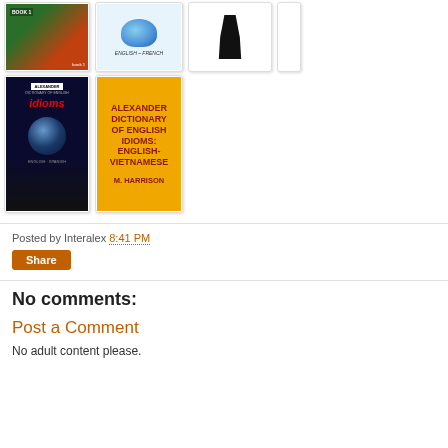[Figure (illustration): Grid of book cover thumbnails - top row: colorful children's book (Book 1), English-French dictionary with bird, black silhouette head. Bottom row: Alexander Dictionary of English Idioms (English-Spanish, dark blue cover with globe), Alexander Dictionary of English Idioms: English-Vietnamese (yellow cover, M. Harrison)]
Posted by Interalex 8:41 PM
Share
No comments:
Post a Comment
No adult content please.